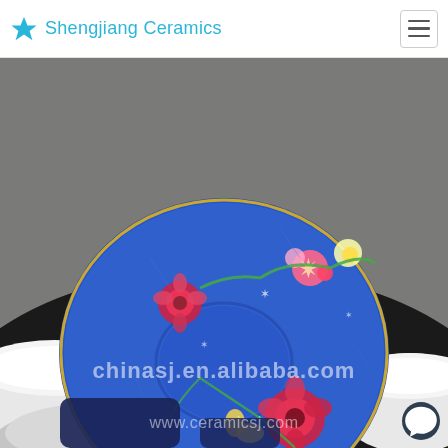Shengjiang Ceramics
[Figure (photo): A decorative Chinese ceramic saucer plate with blue background and colorful floral patterns (red, pink, yellow flowers with green vines), surrounded by white ceramic cups/bowls on a dark surface. Watermark text reads 'chinasj.en.alibaba.com' and 'www.ceramicsj.com'.]